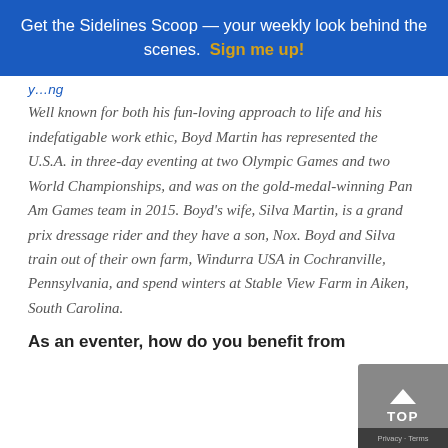Get the Sidelines Scoop — your weekly look behind the scenes. Sign me up!
[partial line cut off at top]
Well known for both his fun-loving approach to life and his indefatigable work ethic, Boyd Martin has represented the U.S.A. in three-day eventing at two Olympic Games and two World Championships, and was on the gold-medal-winning Pan Am Games team in 2015. Boyd's wife, Silva Martin, is a grand prix dressage rider and they have a son, Nox. Boyd and Silva train out of their own farm, Windurra USA in Cochranville, Pennsylvania, and spend winters at Stable View Farm in Aiken, South Carolina.
As an eventer, how do you benefit from